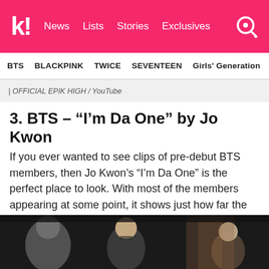k! News Lists Stories Exclusives
BTS BLACKPINK TWICE SEVENTEEN Girls' Generation
| OFFICIAL EPIK HIGH / YouTube
3. BTS – “I’m Da One” by Jo Kwon
If you ever wanted to see clips of pre-debut BTS members, then Jo Kwon’s “I’m Da One” is the perfect place to look. With most of the members appearing at some point, it shows just how far the group has come from cameos to taking over the world with their music.
[Figure (photo): Still frame from Jo Kwon's 'I'm Da One' music video showing people in a dark scene]